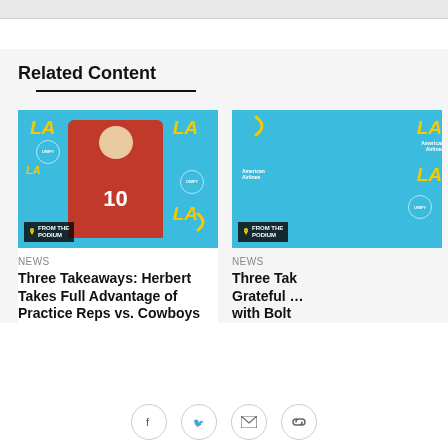Related Content
[Figure (photo): LA Chargers player #10 in red jersey speaking at press conference with blue LA Chargers sponsor backdrop showing UNIFY, American Airlines, LA logos. 'From the Podium' badge in bottom left corner.]
NEWS
Three Takeaways: Herbert Takes Full Advantage of Practice Reps vs. Cowboys
[Figure (photo): Partially visible second photo with blue LA Chargers backdrop showing LA, UNIFY, American Airlines logos. 'From the Podium' badge visible in lower left.]
NEWS
Three Tak... Grateful ... with Bolt...